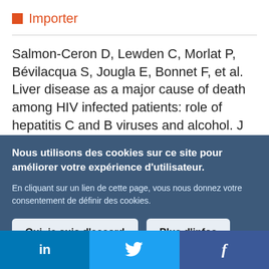Importer
Salmon-Ceron D, Lewden C, Morlat P, Bévilacqua S, Jougla E, Bonnet F, et al. Liver disease as a major cause of death among HIV infected patients: role of hepatitis C and B viruses and alcohol. J Hepatol. 2005 Jun;42(6):799–805.
Nous utilisons des cookies sur ce site pour améliorer votre expérience d'utilisateur.
En cliquant sur un lien de cette page, vous nous donnez votre consentement de définir des cookies.
Oui, je suis d'accord
Plus d'infos
in  f